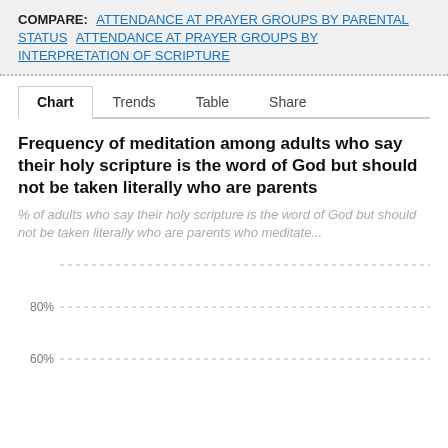COMPARE: ATTENDANCE AT PRAYER GROUPS BY PARENTAL STATUS   ATTENDANCE AT PRAYER GROUPS BY INTERPRETATION OF SCRIPTURE
Chart   Trends   Table   Share
Frequency of meditation among adults who say their holy scripture is the word of God but should not be taken literally who are parents
% of adults who say their holy scripture is the word of God but should not be taken literally who are parents who meditate...
[Figure (continuous-plot): Partial bar or line chart showing percentage axis with gridlines at 100%, 80%, and 60% (partial). Chart content is cut off at page bottom.]